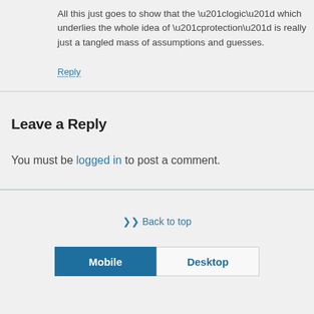All this just goes to show that the “logic” which underlies the whole idea of “protection” is really just a tangled mass of assumptions and guesses.
Reply
Leave a Reply
You must be logged in to post a comment.
❯❯ Back to top
Mobile  Desktop